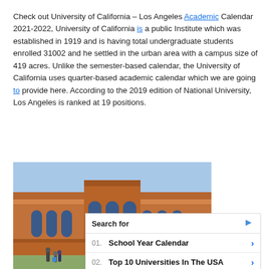Check out University of California – Los Angeles Academic Calendar 2021-2022, University of California is a public Institute which was established in 1919 and is having total undergraduate students enrolled 31002 and he settled in the urban area with a campus size of 419 acres. Unlike the semester-based calendar, the University of California uses quarter-based academic calendar which we are going to provide here. According to the 2019 edition of National University, Los Angeles is ranked at 19 positions.
[Figure (photo): Photograph of a large red brick university building with arched windows and arcade, likely Royce Hall at UCLA, with students visible in the foreground.]
Search for
01. School Year Calendar
02. Top 10 Universities In The USA
Yahoo! Search | Sponsored